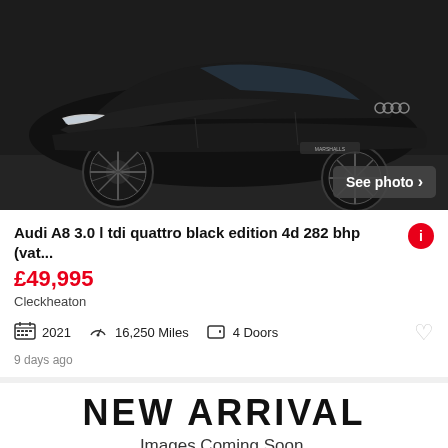[Figure (photo): Black Audi A8 luxury sedan photographed in a dark studio setting, front 3/4 angle, black on black with large alloy wheels. 'See photo >' button overlay bottom right.]
Audi A8 3.0 l tdi quattro black edition 4d 282 bhp (vat...
£49,995
Cleckheaton
2021   16,250 Miles   4 Doors
9 days ago
[Figure (photo): New Arrival placeholder image with large bold 'NEW ARRIVAL' text and 'Images Coming Soon.' subtitle. A red draped cover is partially visible at the bottom. 'See photo >' button overlay bottom right.]